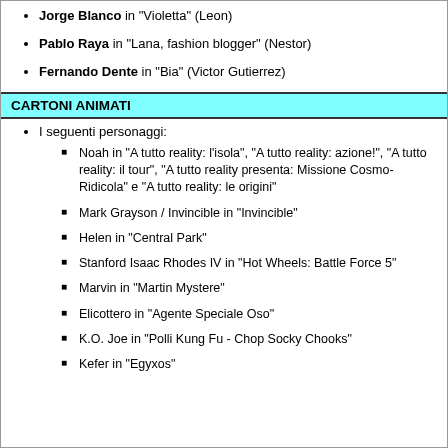Jorge Blanco in "Violetta" (Leon)
Pablo Raya in "Lana, fashion blogger" (Nestor)
Fernando Dente in "Bia" (Victor Gutierrez)
CARTONI ANIMATI
I seguenti personaggi:
Noah in "A tutto reality: l'isola", "A tutto reality: azione!", "A tutto reality: il tour", "A tutto reality presenta: Missione Cosmo-Ridicola" e "A tutto reality: le origini"
Mark Grayson / Invincible in "Invincible"
Helen in "Central Park"
Stanford Isaac Rhodes IV in "Hot Wheels: Battle Force 5"
Marvin in "Martin Mystere"
Elicottero in "Agente Speciale Oso"
K.O. Joe in "Polli Kung Fu - Chop Socky Chooks"
Kefer in "Egyxos"